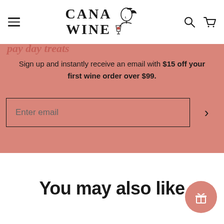[Figure (logo): Cana Wine logo with stylized woman sipping wine from a glass, text reads CANA WINE]
Sign up and instantly receive an email with $15 off your first wine order over $99.
Enter email
You may also like